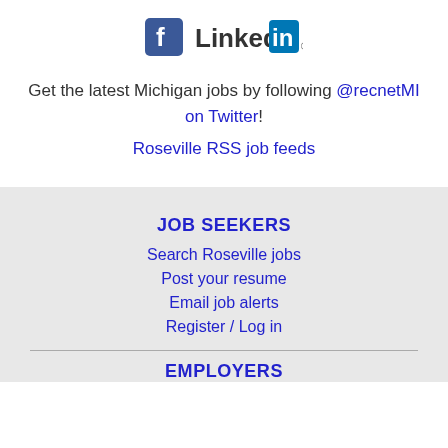[Figure (logo): Facebook and LinkedIn social media icons/logos displayed side by side]
Get the latest Michigan jobs by following @recnetMI on Twitter!
Roseville RSS job feeds
JOB SEEKERS
Search Roseville jobs
Post your resume
Email job alerts
Register / Log in
EMPLOYERS